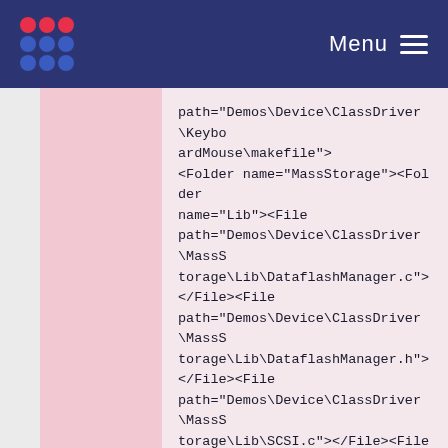Menu
path="Demos\Device\ClassDriver\KeyboardMouse\makefile"></File></Folder><Folder name="MassStorage"><Folder name="Lib"><File path="Demos\Device\ClassDriver\MassStorage\Lib\DataflashManager.c"></File><File path="Demos\Device\ClassDriver\MassStorage\Lib\DataflashManager.h"></File><File path="Demos\Device\ClassDriver\MassStorage\Lib\SCSI.c"></File><File path="Demos\Device\ClassDriver\MassStorage\Lib\SCSI.h"></File></Folder><File path="Demos\Device\ClassDriver\MassStorage\Descriptors.c"></File><File path="Demos\Device\ClassDriver\MassStorage\Descriptors.h"></File><File path="Demos\Device\ClassDriver\MassS